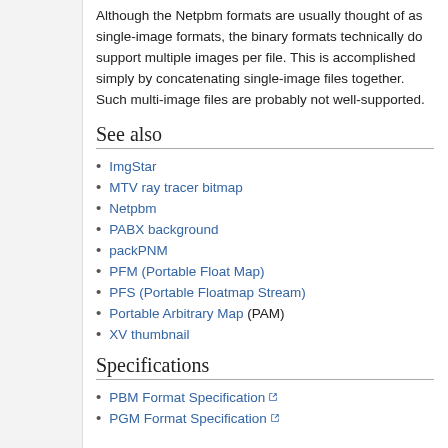Although the Netpbm formats are usually thought of as single-image formats, the binary formats technically do support multiple images per file. This is accomplished simply by concatenating single-image files together. Such multi-image files are probably not well-supported.
See also
ImgStar
MTV ray tracer bitmap
Netpbm
PABX background
packPNM
PFM (Portable Float Map)
PFS (Portable Floatmap Stream)
Portable Arbitrary Map (PAM)
XV thumbnail
Specifications
PBM Format Specification [external]
PGM Format Specification [external]